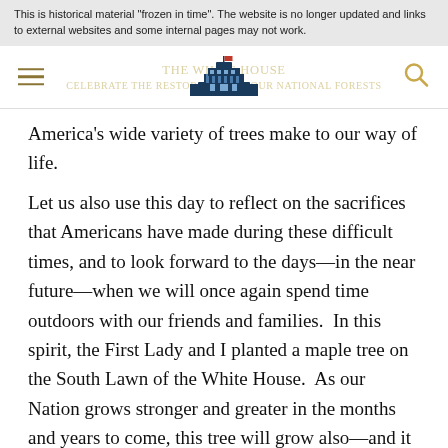This is historical material "frozen in time". The website is no longer updated and links to external websites and some internal pages may not work.
[Figure (logo): White House navigation bar with hamburger menu, White House building logo/icon, and search icon]
America's wide variety of trees make to our way of life.
Let us also use this day to reflect on the sacrifices that Americans have made during these difficult times, and to look forward to the days—in the near future—when we will once again spend time outdoors with our friends and families.  In this spirit, the First Lady and I planted a maple tree on the South Lawn of the White House.  As our Nation grows stronger and greater in the months and years to come, this tree will grow also—and it will stand tall and beautiful for future generations to admire and appreciate.